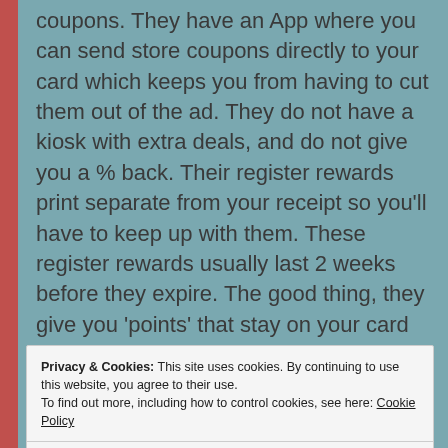coupons. They have an App where you can send store coupons directly to your card which keeps you from having to cut them out of the ad. They do not have a kiosk with extra deals, and do not give you a % back. Their register rewards print separate from your receipt so you'll have to keep up with them. These register rewards usually last 2 weeks before they expire. The good thing, they give you 'points' that stay on your card when you buy certain items listed in the ad. You can accumulate these points as long as you want and they never expire. You can't earn and 'spend' points
Privacy & Cookies: This site uses cookies. By continuing to use this website, you agree to their use. To find out more, including how to control cookies, see here: Cookie Policy
Close and accept
if you know their system. Krazy Coupon Lady is